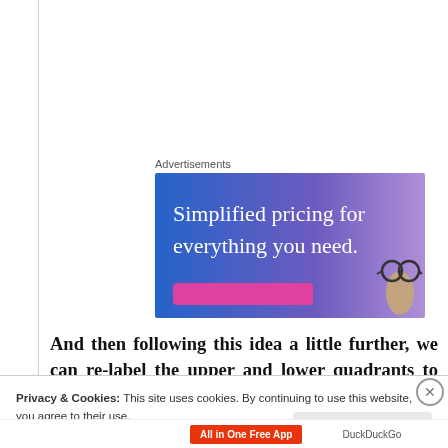Advertisements
[Figure (illustration): Advertisement banner with gradient blue-purple background. Large white serif text reads 'Simplified pricing for everything you need.' with a pink button at bottom and a hand holding glasses at the right.]
And then following this idea a little further, we can re-label the upper and lower quadrants to show that first-person and third-person knowledge both
Privacy & Cookies: This site uses cookies. By continuing to use this website, you agree to their use.
To find out more, including how to control cookies, see here: Cookie Policy
Close and accept